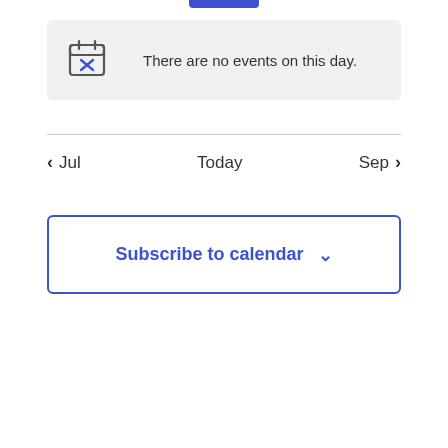[Figure (screenshot): Partial blue button at top of page]
There are no events on this day.
Jul    Today    Sep
Subscribe to calendar